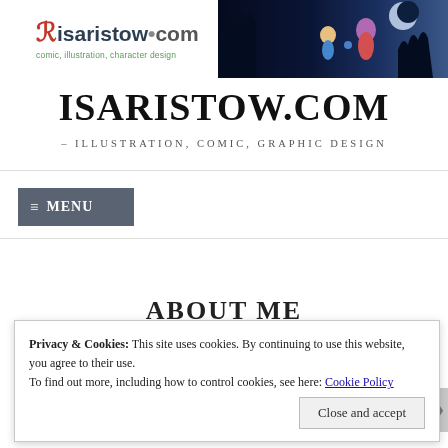[Figure (logo): Isaristow.com logo with stylized R icon and tagline 'comic, illustration, character design', alongside a fantasy illustration banner showing anime-style characters in a night scene]
ISARISTOW.COM
– ILLUSTRATION, COMIC, GRAPHIC DESIGN
≡ MENU
ABOUT ME
Privacy & Cookies: This site uses cookies. By continuing to use this website, you agree to their use.
To find out more, including how to control cookies, see here: Cookie Policy
Close and accept